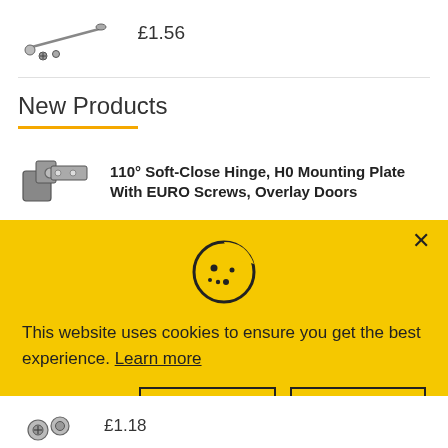[Figure (photo): Small hardware item (screws/rod) product image]
£1.56
New Products
[Figure (photo): 110° Soft-Close Hinge product image]
110° Soft-Close Hinge, H0 Mounting Plate With EURO Screws, Overlay Doors
This website uses cookies to ensure you get the best experience. Learn more
Preferences
Accept
Decline
[Figure (photo): Bottom hardware product image]
£1.18